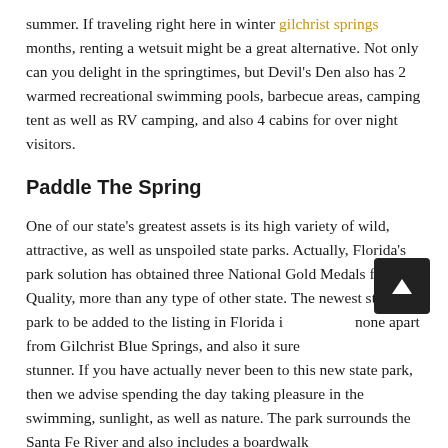summer. If traveling right here in winter gilchrist springs months, renting a wetsuit might be a great alternative. Not only can you delight in the springtimes, but Devil's Den also has 2 warmed recreational swimming pools, barbecue areas, camping tent as well as RV camping, and also 4 cabins for over night visitors.
Paddle The Spring
One of our state's greatest assets is its high variety of wild, attractive, as well as unspoiled state parks. Actually, Florida's park solution has obtained three National Gold Medals for Quality, more than any type of other state. The newest state park to be added to the listing in Florida is none apart from Gilchrist Blue Springs, and also it sure is a stunner. If you have actually never been to this new state park, then we advise spending the day taking pleasure in the swimming, sunlight, as well as nature. The park surrounds the Santa Fe River and also includes a boardwalk